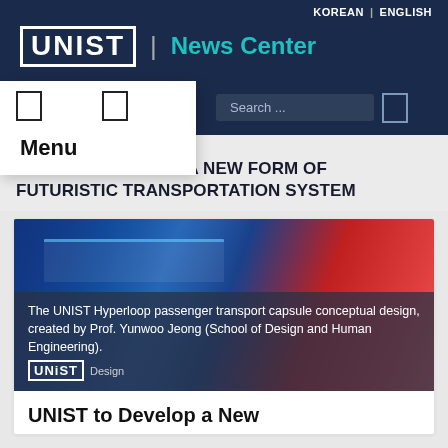KOREAN | ENGLISH
[Figure (logo): UNIST News Center logo on dark navy header]
Menu
Search ...
HOME ❯ NEWS ❯ RESEARCH ❯
UNIST TO DEVELOP A NEW FORM OF FUTURISTIC TRANSPORTATION SYSTEM
[Figure (photo): The UNIST Hyperloop passenger transport capsule conceptual design, created by Prof. Yunwoo Jeong (School of Design and Human Engineering). UNIST Design]
The UNIST Hyperloop passenger transport capsule conceptual design, created by Prof. Yunwoo Jeong (School of Design and Human Engineering).
UNIST to Develop a New